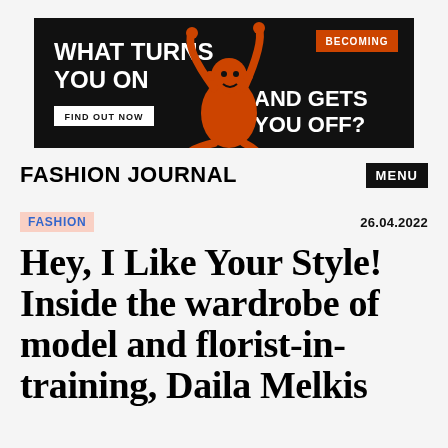[Figure (other): Advertisement banner with black background, orange illustrated character, text 'WHAT TURNS YOU ON AND GETS YOU OFF?', 'BECOMING' label, and 'FIND OUT NOW' button]
FASHION JOURNAL
MENU
FASHION
26.04.2022
Hey, I Like Your Style! Inside the wardrobe of model and florist-in-training, Daila Melkis